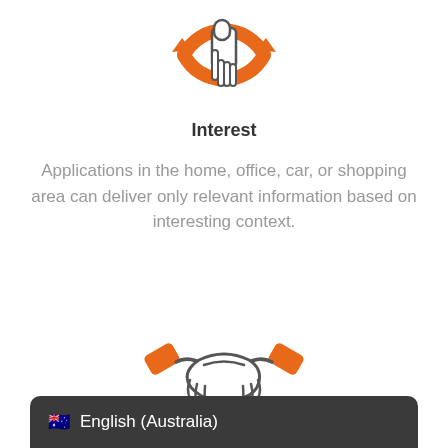[Figure (illustration): Orange and white circular tap/click icon with a finger pointer, partially cropped at top of page]
Interest
Applications in the home, office, car, or shopping area can deliver only relevant information based on interesting context.
[Figure (illustration): Handshake icon with orange cuffs and dark outline, two hands shaking in partnership gesture]
English (Australia)